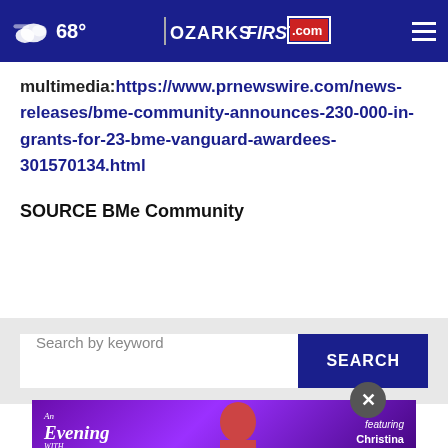68° | OZARKSFIRST.com
multimedia:https://www.prnewswire.com/news-releases/bme-community-announces-230-000-in-grants-for-23-bme-vanguard-awardees-301570134.html
SOURCE BMe Community
[Figure (screenshot): Search bar with keyword input field and SEARCH button, with close (x) button]
[Figure (photo): Advertisement banner for An Evening with Shoji featuring Christina Lingo-Tabuchi]